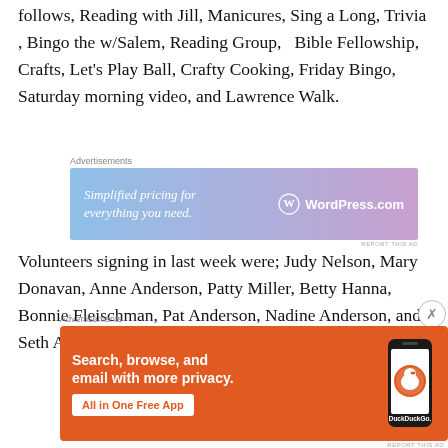follows, Reading with Jill, Manicures, Sing a Long, Trivia , Bingo the w/Salem, Reading Group,   Bible Fellowship, Crafts, Let's Play Ball, Crafty Cooking, Friday Bingo, Saturday morning video, and Lawrence Walk.
[Figure (other): WordPress.com advertisement: 'Simplified pricing for everything you need.' with WordPress logo]
Volunteers signing in last week were; Judy Nelson, Mary Donavan, Anne Anderson, Patty Miller, Betty Hanna, Bonnie Fleischman, Pat Anderson, Nadine Anderson, and Seth Anderson.
[Figure (other): DuckDuckGo advertisement: 'Search, browse, and email with more privacy. All in One Free App' with DuckDuckGo logo and phone image]